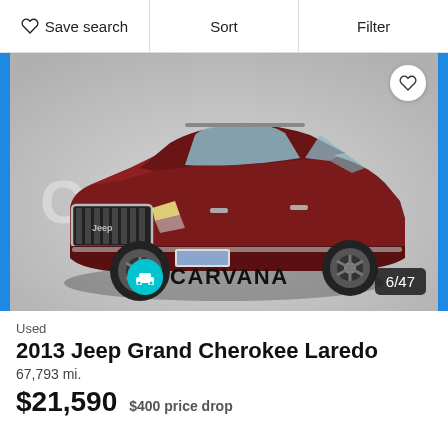Save search | Sort | Filter
[Figure (photo): A dark red 2013 Jeep Grand Cherokee Laredo SUV photographed against a gray studio background, shown from a front 3/4 angle. Carvana watermark and logo visible. Photo counter shows 6/47.]
Used
2013 Jeep Grand Cherokee Laredo
67,793 mi.
$21,590  $400 price drop